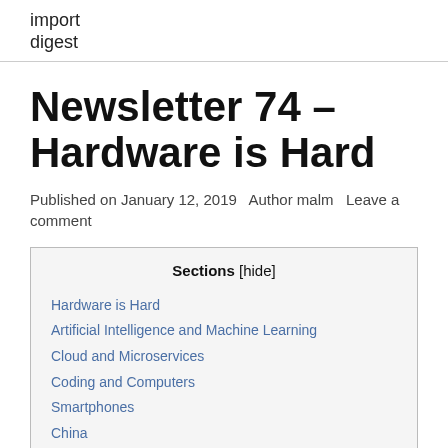import digest
Newsletter 74 – Hardware is Hard
Published on January 12, 2019   Author malm   Leave a comment
| Sections [hide] |
| --- |
| Hardware is Hard |
| Artificial Intelligence and Machine Learning |
| Cloud and Microservices |
| Coding and Computers |
| Smartphones |
| China |
| Work and Hiring |
| Science |
| Culture and Society |